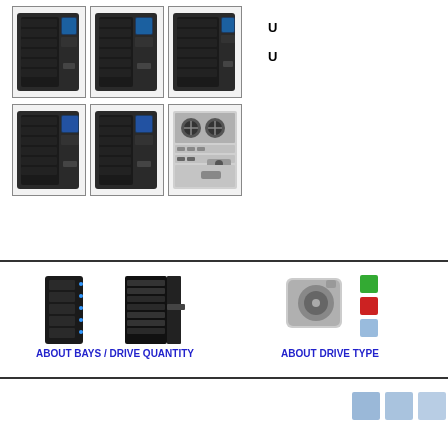[Figure (photo): Grid of 6 NAS device images (front and back views of QNAP NAS units)]
US
US
[Figure (photo): Two NAS tower images illustrating bays/drive quantity]
ABOUT BAYS / DRIVE QUANTITY
[Figure (photo): Hard drive icon with colored squares illustrating drive types]
ABOUT DRIVE TYPE
[Figure (illustration): Three light blue squares in bottom right corner]